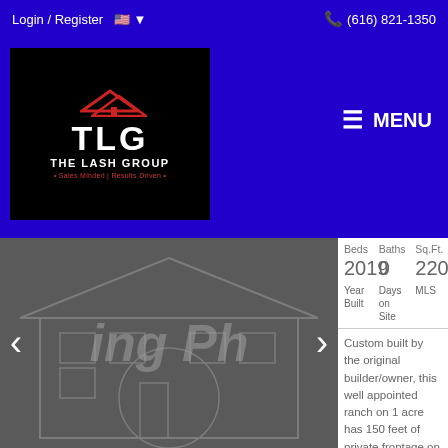Login / Register    (616) 821-1350
[Figure (logo): The Lash Group (TLG) real estate company logo — white TLG text with red house icon on black background, tagline: Sales Minded | Results Driven]
MENU
[Figure (photo): Blurred exterior/blueprint photo of a large house property listing, with left and right navigation arrows labeled 'ing Ph']
| Beds | Baths | Sq.Ft. |
| --- | --- | --- |
| 2019 | 0 | 2202209 |
| Year Built | Days on Site | MLS |
| --- | --- | --- |
Custom built by the original builder/owner, this well appointed ranch on 1 acre has 150 feet of private frontage on 320 acre all-sports Murray Lake! Almost 6000 s.f. of finished living